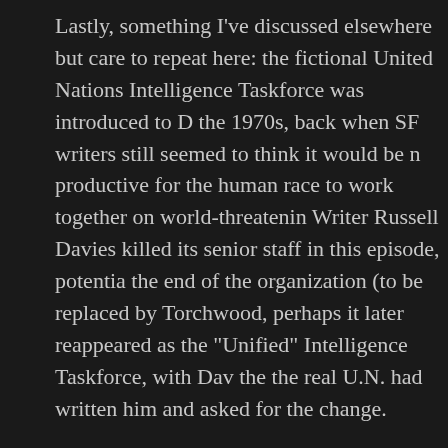Lastly, something I've discussed elsewhere but care to repeat here: the fictional United Nations Intelligence Taskforce was introduced to Doctor Who in the 1970s, back when SF writers still seemed to think it would be more productive for the human race to work together on world-threatening crises. Writer Russell Davies killed its senior staff in this episode, potentially signaling the end of the organization (to be replaced by Torchwood, perhaps), but it later reappeared as the "Unified" Intelligence Taskforce, with Davies saying the real U.N. had written him and asked for the change.
Now, the U.N. has been portrayed in fiction since its beginnings, often unflatteringly. (In Rapture storytelling, it often becomes a tyrannical world dictatorship, for example.) The idea that after thirty-five years, some rep at the U.N. suddenly objected to the organization's positive portrayal on a decidedly cheesy SF series astounds me. I find it far, far more plausible that Davies didn't like the idea of UNIT – wanting to switch to a more British organization – and for his own reasons chose this story to support the change. But we will never know for sure, and it's canon now… until the next retcon.
EDIT: Actually, I just had a thought about the change: perhaps there's some weird copyright on potential merchandising of UNIT emblems, toys, and the like by the BBC. This still sounds shaky… the Japanese are still labeling their toys 'U.N. Spacy' (space army), and I'd not think I'd have to ask Germany's permission to market a "German Army Toy Soldier", but international copyright is a strange thing. I could imagine it would be just easier to market